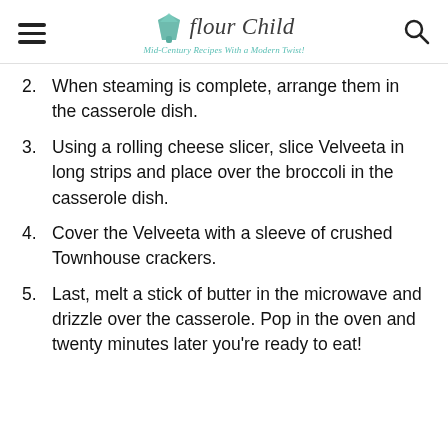Flour Child – Mid-Century Recipes With a Modern Twist!
2. When steaming is complete, arrange them in the casserole dish.
3. Using a rolling cheese slicer, slice Velveeta in long strips and place over the broccoli in the casserole dish.
4. Cover the Velveeta with a sleeve of crushed Townhouse crackers.
5. Last, melt a stick of butter in the microwave and drizzle over the casserole. Pop in the oven and twenty minutes later you're ready to eat!